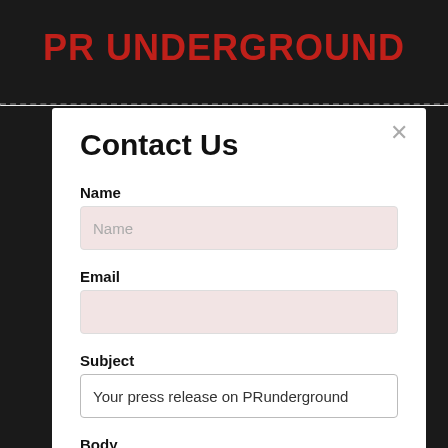PR UNDERGROUND
Contact Us
Name
Name (placeholder)
Email
Subject
Your press release on PRunderground
Body